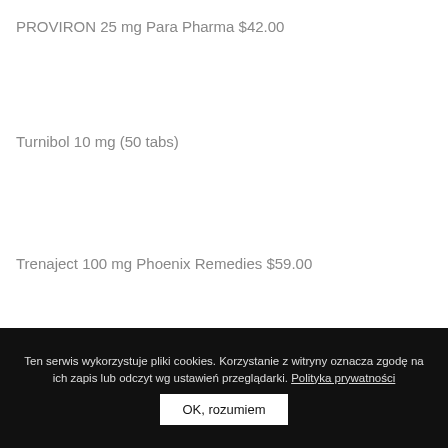PROVIRON 25 mg Para Pharma $42.00
Turnibol 10 mg (50 tabs)
Trenaject 100 mg Phoenix Remedies $59.00
Ten serwis wykorzystuje pliki cookies. Korzystanie z witryny oznacza zgodę na ich zapis lub odczyt wg ustawień przeglądarki. Polityka prywatności
OK, rozumiem